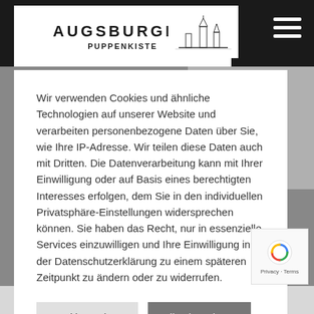[Figure (logo): Augsburger logo with city skyline icon on dark header bar with hamburger menu]
Wir verwenden Cookies und ähnliche Technologien auf unserer Website und verarbeiten personenbezogene Daten über Sie, wie Ihre IP-Adresse. Wir teilen diese Daten auch mit Dritten. Die Datenverarbeitung kann mit Ihrer Einwilligung oder auf Basis eines berechtigten Interesses erfolgen, dem Sie in den individuellen Privatsphäre-Einstellungen widersprechen können. Sie haben das Recht, nur in essenzielle Services einzuwilligen und Ihre Einwilligung in der Datenschutzerklärung zu einem späteren Zeitpunkt zu ändern oder zu widerrufen.
Cookie Settings
Alle akzeptieren
1594)
hinzufügen